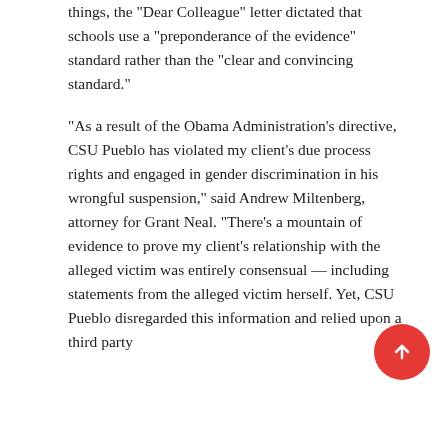things, the "Dear Colleague" letter dictated that schools use a "preponderance of the evidence" standard rather than the "clear and convincing standard."
"As a result of the Obama Administration's directive, CSU Pueblo has violated my client's due process rights and engaged in gender discrimination in his wrongful suspension," said Andrew Miltenberg, attorney for Grant Neal. "There's a mountain of evidence to prove my client's relationship with the alleged victim was entirely consensual — including statements from the alleged victim herself. Yet, CSU Pueblo disregarded this information and relied upon a third party